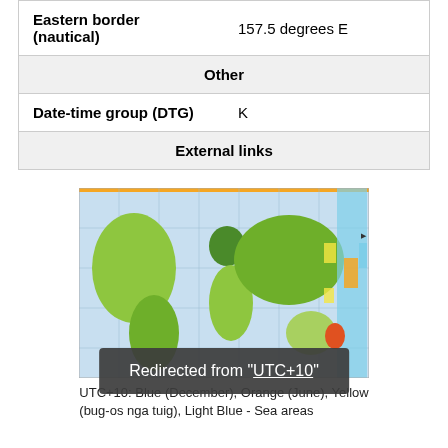| Eastern border (nautical) | 157.5 degrees E |
| Other |  |
| Date-time group (DTG) | K |
| External links |  |
[Figure (map): World time zone map showing UTC+10 areas. Blue indicates December, Orange indicates June, Yellow indicates bug-os nga tuig (all-year), Light Blue indicates Sea areas.]
UTC+10: Blue (December), Orange (June), Yellow (bug-os nga tuig), Light Blue - Sea areas
Redirected from "UTC+10"